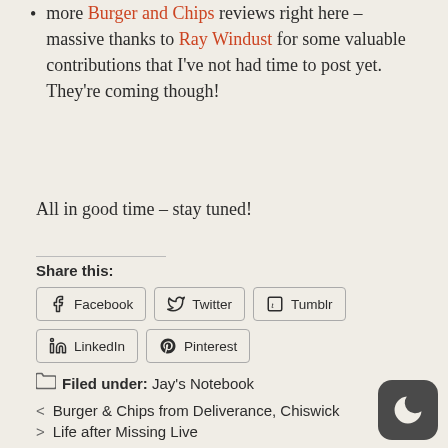more Burger and Chips reviews right here – massive thanks to Ray Windust for some valuable contributions that I've not had time to post yet. They're coming though!
All in good time – stay tuned!
Share this:
Facebook  Twitter  Tumblr  LinkedIn  Pinterest
Filed under: Jay's Notebook
< Burger & Chips from Deliverance, Chiswick
> Life after Missing Live